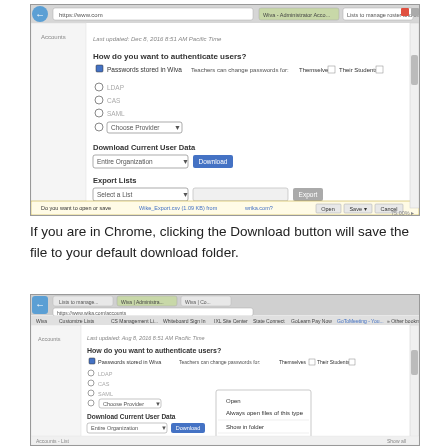[Figure (screenshot): Browser screenshot showing an admin page with 'How do you want to authenticate users?' form, Download Current User Data section with 'Entire Organization' dropdown and Download button, Export Lists section, and a browser save dialog at the bottom bar showing 'Do you want to open or save Wite_Export.csv...' with Open, Save, and Cancel buttons.]
If you are in Chrome, clicking the Download button will save the file to your default download folder.
[Figure (screenshot): Chrome browser screenshot showing the same admin authentication page with 'How do you want to authenticate users?' form, Download Current User Data section, Export Lists section, and a Chrome download context menu showing options: Open, Always open files of this type, Show in folder, Cancel.]